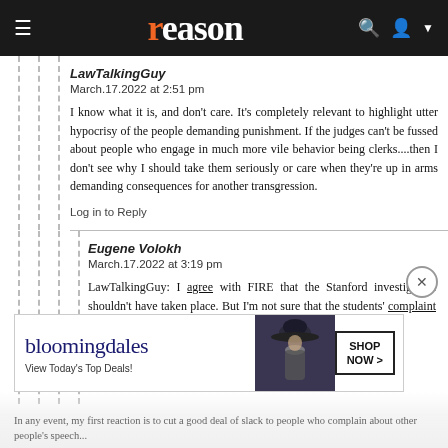reason
LawTalkingGuy
March.17.2022 at 2:51 pm

I know what it is, and don't care. It's completely relevant to highlight utter hypocrisy of the people demanding punishment. If the judges can't be fussed about people who engage in much more vile behavior being clerks....then I don't see why I should take them seriously or care when they're up in arms demanding consequences for another transgression.
Log in to Reply
Eugene Volokh
March.17.2022 at 3:19 pm

LawTalkingGuy: I agree with FIRE that the Stanford investigation shouldn't have taken place. But I'm not sure that the students' complaint letter was asking that a hold be placed on the student's diploma; perhaps Stanford students understand that such complaints are about...
[Figure (screenshot): Bloomingdale's advertisement banner: logo, 'View Today's Top Deals!', fashion model with hat, 'SHOP NOW >' button]
In any event, my first reaction is to cut a good deal of slack to people who complain about other people's speech...